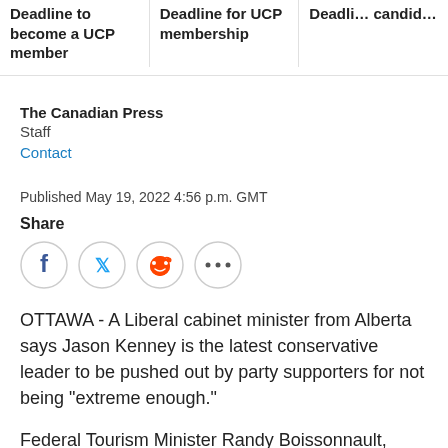Deadline to become a UCP member | Deadline for UCP membership | Deadline for candidates
The Canadian Press
Staff
Contact
Published May 19, 2022 4:56 p.m. GMT
Share
[Figure (infographic): Social share buttons: Facebook, Twitter, Reddit, More (...)]
OTTAWA - A Liberal cabinet minister from Alberta says Jason Kenney is the latest conservative leader to be pushed out by party supporters for not being "extreme enough."
Federal Tourism Minister Randy Boissonnault,